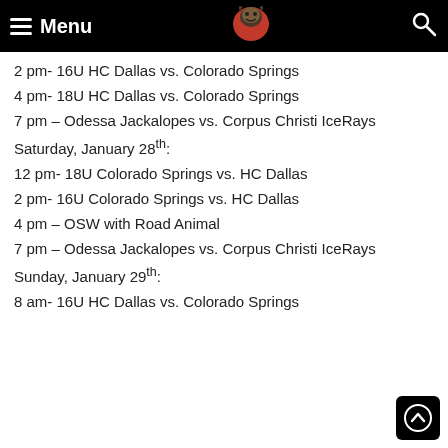Menu [logo] [search]
2 pm- 16U HC Dallas vs. Colorado Springs
4 pm- 18U HC Dallas vs. Colorado Springs
7 pm – Odessa Jackalopes vs. Corpus Christi IceRays
Saturday, January 28th:
12 pm- 18U Colorado Springs vs. HC Dallas
2 pm- 16U Colorado Springs vs. HC Dallas
4 pm – OSW with Road Animal
7 pm – Odessa Jackalopes vs. Corpus Christi IceRays
Sunday, January 29th:
8 am- 16U HC Dallas vs. Colorado Springs